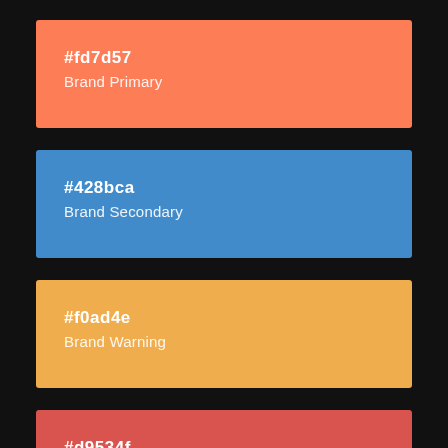[Figure (infographic): Color swatch showing hex #fd7d57 labeled Brand Primary on a coral/orange background]
[Figure (infographic): Color swatch showing hex #428bca labeled Brand Secondary on a blue background]
[Figure (infographic): Color swatch showing hex #f0ad4e labeled Brand Warning on a golden yellow background]
[Figure (infographic): Color swatch showing hex #d9534f on a red background, partially visible]